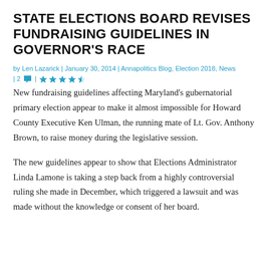STATE ELECTIONS BOARD REVISES FUNDRAISING GUIDELINES IN GOVERNOR'S RACE
by Len Lazarick | January 30, 2014 | Annapolitics Blog, Election 2018, News | 2 💬 | ★★★★☆
New fundraising guidelines affecting Maryland's gubernatorial primary election appear to make it almost impossible for Howard County Executive Ken Ulman, the running mate of Lt. Gov. Anthony Brown, to raise money during the legislative session.
The new guidelines appear to show that Elections Administrator Linda Lamone is taking a step back from a highly controversial ruling she made in December, which triggered a lawsuit and was made without the knowledge or consent of her board.